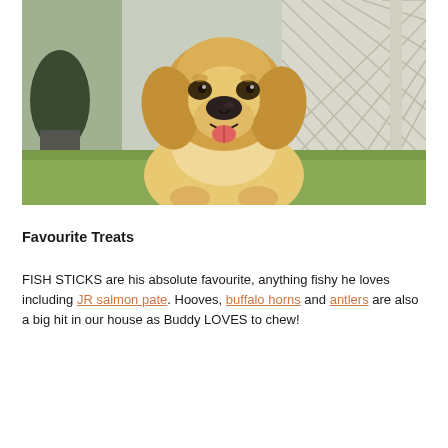[Figure (photo): Golden/yellow Labrador dog sitting outdoors on green grass, facing forward with mouth open and tongue out, smiling expression. Background shows white lattice fence and a potted plant.]
Favourite Treats
FISH STICKS are his absolute favourite, anything fishy he loves including JR salmon pate. Hooves, buffalo horns and antlers are also a big hit in our house as Buddy LOVES to chew!